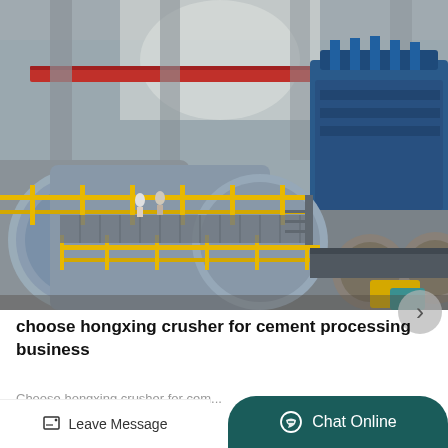[Figure (photo): Industrial cement processing facility interior showing large ball mills, conveyor systems, yellow safety railings, blue machinery in the background, red overhead crane beam, high ceiling with natural light.]
choose hongxing crusher for cement processing business
Choose hongxing crusher for cem...